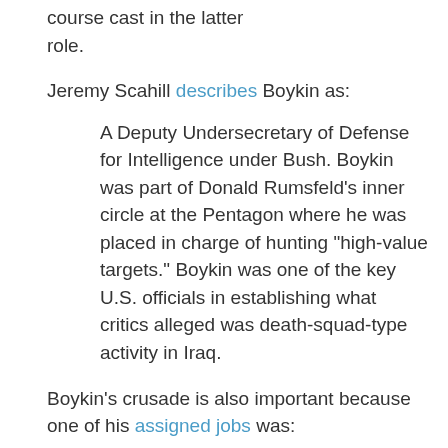course cast in the latter role.
Jeremy Scahill describes Boykin as:
A Deputy Undersecretary of Defense for Intelligence under Bush. Boykin was part of Donald Rumsfeld's inner circle at the Pentagon where he was placed in charge of hunting "high-value targets." Boykin was one of the key U.S. officials in establishing what critics alleged was death-squad-type activity in Iraq.
Boykin's crusade is also important because one of his assigned jobs was: